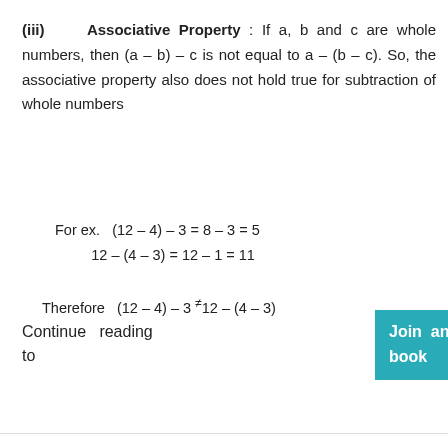(iii) Associative Property : If a, b and c are whole numbers, then (a – b) – c is not equal to a – (b – c). So, the associative property also does not hold true for subtraction of whole numbers
For ex.   (12 – 4) – 3 = 8 – 3 = 5
12 – (4 – 3) = 12 – 1 = 11
Therefore   (12 – 4) – 3 ≠ 12 – (4 – 3)
Continue reading to   Join any of the batches using this book